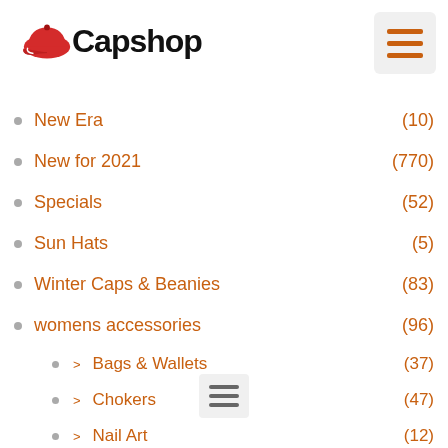[Figure (logo): Capshop logo with red baseball cap icon and bold text 'Capshop']
[Figure (other): Hamburger menu icon (three orange horizontal bars) in a light grey rounded square, top right]
New Era (10)
New for 2021 (770)
Specials (52)
Sun Hats (5)
Winter Caps & Beanies (83)
womens accessories (96)
> Bags & Wallets (37)
> Chokers (47)
> Nail Art (12)
[Figure (other): Hamburger menu icon (three dark horizontal bars) in a light grey rounded square, bottom center]